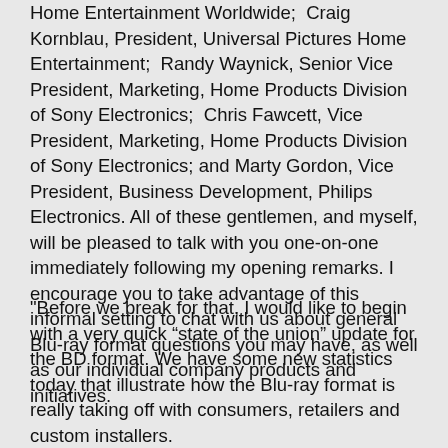Home Entertainment Worldwide;  Craig Kornblau, President, Universal Pictures Home Entertainment;  Randy Waynick, Senior Vice President, Marketing, Home Products Division of Sony Electronics;  Chris Fawcett, Vice President, Marketing, Home Products Division of Sony Electronics; and Marty Gordon, Vice President, Business Development, Philips Electronics. All of these gentlemen, and myself, will be pleased to talk with you one-on-one immediately following my opening remarks. I encourage you to take advantage of this informal setting to chat with us about general Blu-ray format questions you may have, as well as our individual company products and initiatives.
"Before we break for that, I would like to begin with a very quick “state of the union” update for the BD format. We have some new statistics today that illustrate how the Blu-ray format is really taking off with consumers, retailers and custom installers.